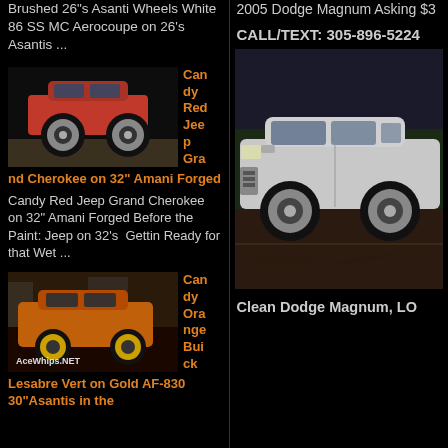Brushed 26"s Asanti Wheels White 86 SS MC Aerocoupe on 26's Asantis ...
[Figure (photo): Red Jeep Grand Cherokee on large custom wheels, side view]
Candy Red Jeep Grand Cherokee on 32" Amani Forged
Candy Red Jeep Grand Cherokee on 32" Amani Forged Before the Paint: Jeep on 32's  Gettin Ready for that Wet ...
[Figure (photo): Candy Orange Buick Lesabre with AceWhips.NET watermark, custom orange paint]
Candy Orange Buick Lesabre Vert on Gold AF-830 30"Asantis in the
2005 Dodge Magnum Asking $3
CALL/TEXT: 305-896-5224
[Figure (photo): White/silver Dodge Magnum parked on gravel/dirt, side profile view]
Clean Dodge Magnum, LO